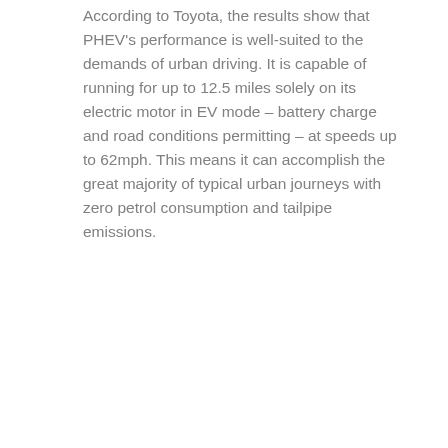According to Toyota, the results show that PHEV's performance is well-suited to the demands of urban driving. It is capable of running for up to 12.5 miles solely on its electric motor in EV mode – battery charge and road conditions permitting – at speeds up to 62mph. This means it can accomplish the great majority of typical urban journeys with zero petrol consumption and tailpipe emissions.